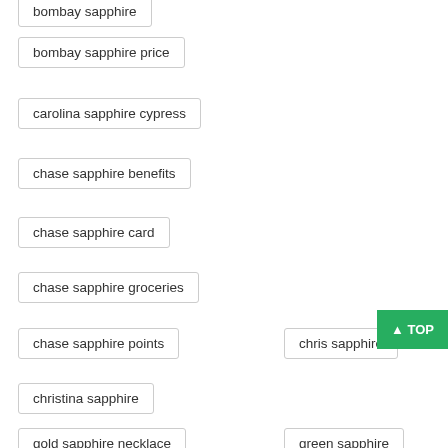bombay sapphire
bombay sapphire price
carolina sapphire cypress
chase sapphire benefits
chase sapphire card
chase sapphire groceries
chase sapphire points
chris sapphire
christina sapphire
gold sapphire necklace
green sapphire